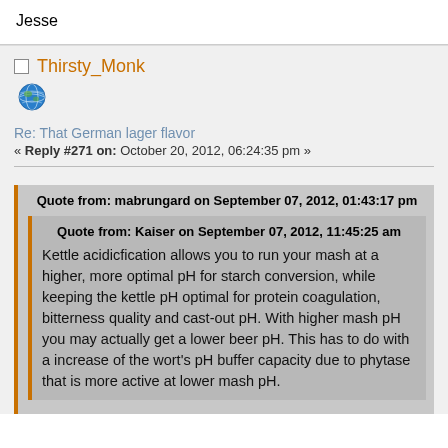Jesse
Thirsty_Monk
Re: That German lager flavor
« Reply #271 on: October 20, 2012, 06:24:35 pm »
Quote from: mabrungard on September 07, 2012, 01:43:17 pm
Quote from: Kaiser on September 07, 2012, 11:45:25 am
Kettle acidicfication allows you to run your mash at a higher, more optimal pH for starch conversion, while keeping the kettle pH optimal for protein coagulation, bitterness quality and cast-out pH. With higher mash pH you may actually get a lower beer pH. This has to do with a increase of the wort's pH buffer capacity due to phytase that is more active at lower mash pH.